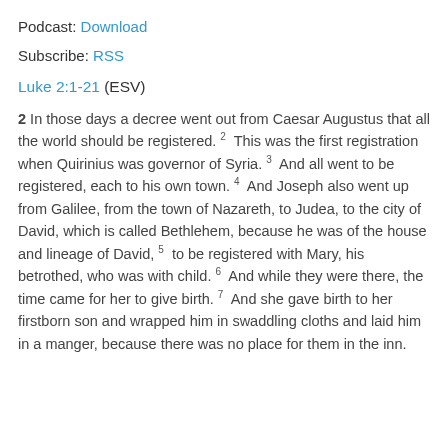Podcast: Download
Subscribe: RSS
Luke 2:1-21 (ESV)
2 In those days a decree went out from Caesar Augustus that all the world should be registered. 2 This was the first registration when Quirinius was governor of Syria. 3 And all went to be registered, each to his own town. 4 And Joseph also went up from Galilee, from the town of Nazareth, to Judea, to the city of David, which is called Bethlehem, because he was of the house and lineage of David, 5 to be registered with Mary, his betrothed, who was with child. 6 And while they were there, the time came for her to give birth. 7 And she gave birth to her firstborn son and wrapped him in swaddling cloths and laid him in a manger, because there was no place for them in the inn.